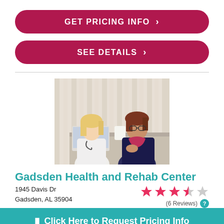GET PRICING INFO ›
SEE DETAILS ›
[Figure (photo): A female nurse or doctor with a stethoscope sits at a table with a laptop, consulting with an elderly female patient.]
Gadsden Health and Rehab Center
1945 Davis Dr
Gadsden, AL 35904
(6 Reviews)
Click Here to Request Pricing Info